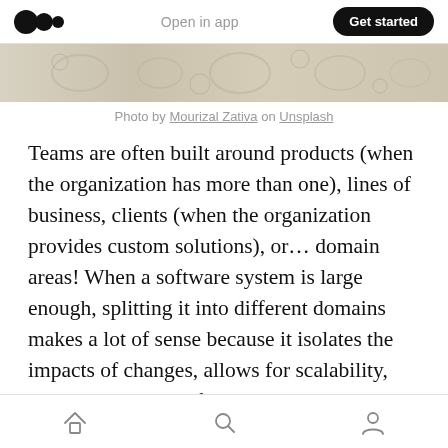Open in app | Get started
[Figure (photo): Decorative image strip showing ornamental design in beige/cream tones]
Photo by Mourizal Zativa on Unsplash
Teams are often built around products (when the organization has more than one), lines of business, clients (when the organization provides custom solutions), or… domain areas! When a software system is large enough, splitting it into different domains makes a lot of sense because it isolates the impacts of changes, allows for scalability, and makes the interfaces between domains clear, which helps to
Home | Search | Profile